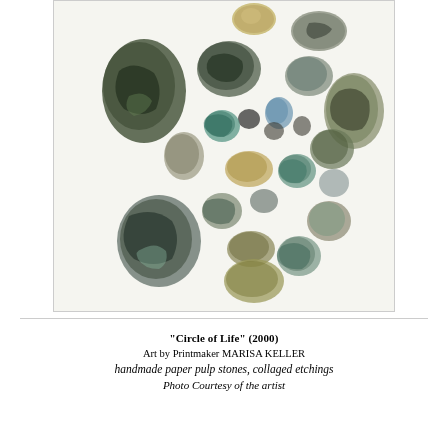[Figure (illustration): Artwork showing a circular arrangement of handmade paper pulp stones with collaged etchings. The stones are oval and rounded shapes in various sizes, rendered in greens, blues, blacks, tans, and grays on a white background, arranged in a loose circular cluster.]
“Circle of Life” (2000)
Art by Printmaker MARISA KELLER
handmade paper pulp stones, collaged etchings
Photo Courtesy of the artist